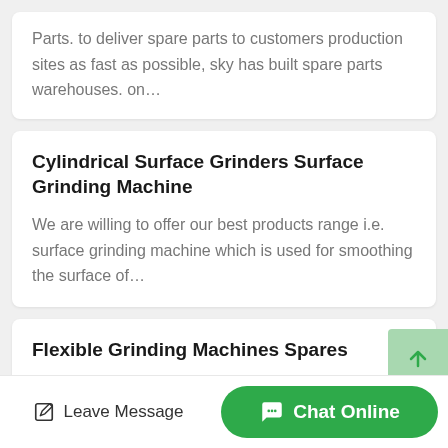Parts. to deliver spare parts to customers production sites as fast as possible, sky has built spare parts warehouses. on…
Cylindrical Surface Grinders Surface Grinding Machine
We are willing to offer our best products range i.e. surface grinding machine which is used for smoothing the surface of…
Flexible Grinding Machines Spares
Home flexible grinding machines spares . flexible grinding machines spares flexible shaft grinders dumore. flexible shaf…
Leave Message   Chat Online